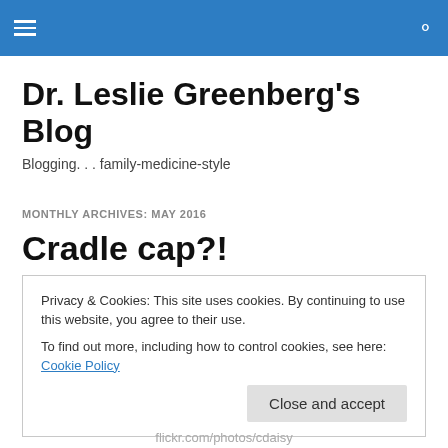Dr. Leslie Greenberg's Blog — navigation bar
Dr. Leslie Greenberg's Blog
Blogging. . . family-medicine-style
MONTHLY ARCHIVES: MAY 2016
Cradle cap?!
Privacy & Cookies: This site uses cookies. By continuing to use this website, you agree to their use.
To find out more, including how to control cookies, see here: Cookie Policy
Close and accept
flickr.com/photos/cdaisy